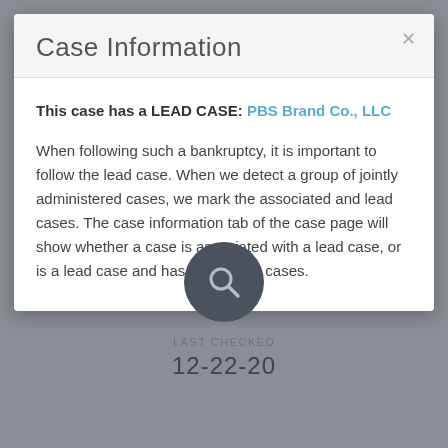Case Information
This case has a LEAD CASE: PBS Brand Co., LLC
When following such a bankruptcy, it is important to follow the lead case. When we detect a group of jointly administered cases, we mark the associated and lead cases. The case information tab of the case page will show whether a case is associated with a lead case, or is a lead case and has associated cases.
[Figure (illustration): Search/magnifying glass icon inside a dark circle]
LAST CHECKED
12-22-20